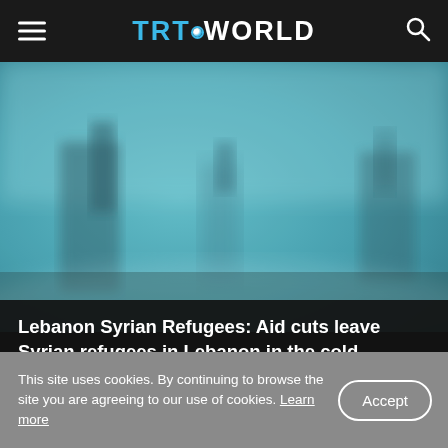TRT WORLD
[Figure (photo): Blurred outdoor scene with teal/blue-green tones, showing what appears to be a refugee camp or cold environment with structures visible in the background.]
Lebanon Syrian Refugees: Aid cuts leave Syrian refugees in Lebanon in the cold
This site uses cookies. By continuing to browse the site you are agreeing to our use of cookies. Learn more